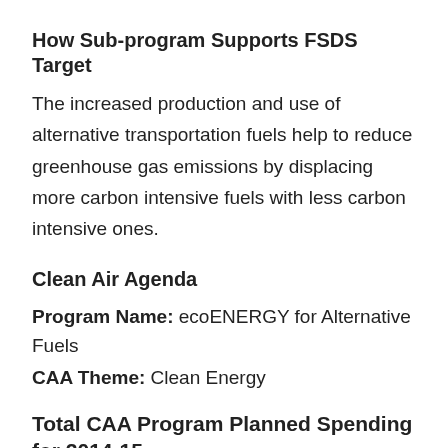How Sub-program Supports FSDS Target
The increased production and use of alternative transportation fuels help to reduce greenhouse gas emissions by displacing more carbon intensive fuels with less carbon intensive ones.
Clean Air Agenda
Program Name: ecoENERGY for Alternative Fuels
CAA Theme: Clean Energy
Total CAA Program Planned Spending for 2014-15